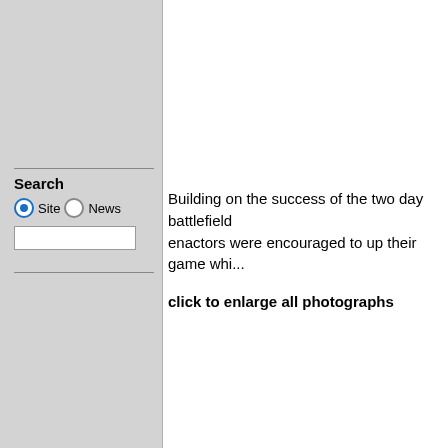Search
Building on the success of the two day battlefield enactors were encouraged to up their game whi...
click to enlarge all photographs